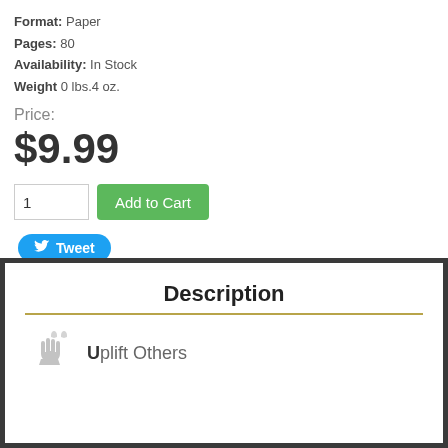Format: Paper
Pages: 80
Availability: In Stock
Weight 0 lbs.4 oz.
Price:
$9.99
[Figure (screenshot): Quantity input field showing '1' and green 'Add to Cart' button, plus a blue Twitter Tweet button]
Description
[Figure (illustration): Two raised hands icon (grey) next to text 'Uplift Others' with bold capital U]